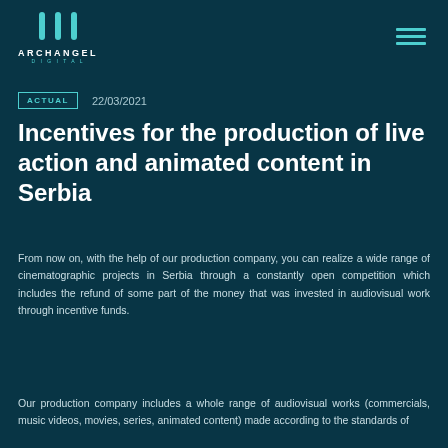[Figure (logo): Archangel Digital logo with teal icon and white text]
ACTUAL   22/03/2021
Incentives for the production of live action and animated content in Serbia
From now on, with the help of our production company, you can realize a wide range of cinematographic projects in Serbia through a constantly open competition which includes the refund of some part of the money that was invested in audiovisual work through incentive funds.
Our production company includes a whole range of audiovisual works (commercials, music videos, movies, series, animated content) made according to the standards of